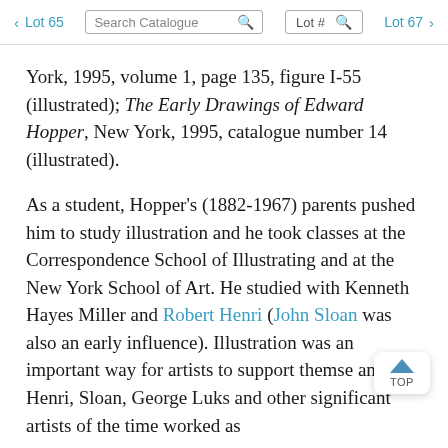< Lot 65  Search Catalogue  Lot #  Lot 67 >
York, 1995, volume 1, page 135, figure I-55 (illustrated); The Early Drawings of Edward Hopper, New York, 1995, catalogue number 14 (illustrated).
As a student, Hopper's (1882-1967) parents pushed him to study illustration and he took classes at the Correspondence School of Illustrating and at the New York School of Art. He studied with Kenneth Hayes Miller and Robert Henri (John Sloan was also an early influence). Illustration was an important way for artists to support themse and Henri, Sloan, George Luks and other significant artists of the time worked as